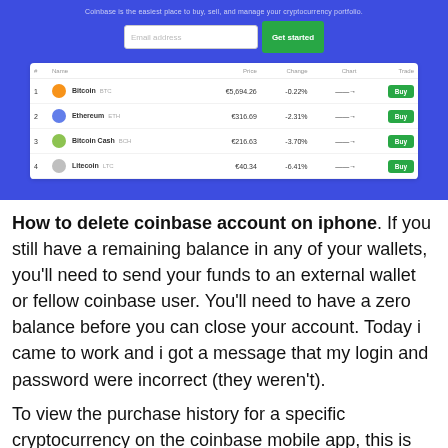[Figure (screenshot): Coinbase website screenshot showing tagline, email signup form, and a table of cryptocurrencies (Bitcoin BTC, Ethereum ETH, Bitcoin Cash BCH, Litecoin LTC) with prices, changes, and Buy buttons on a blue background.]
How to delete coinbase account on iphone. If you still have a remaining balance in any of your wallets, you'll need to send your funds to an external wallet or fellow coinbase user. You'll need to have a zero balance before you can close your account. Today i came to work and i got a message that my login and password were incorrect (they weren't).
To view the purchase history for a specific cryptocurrency on the coinbase mobile app, this is what you need to do: